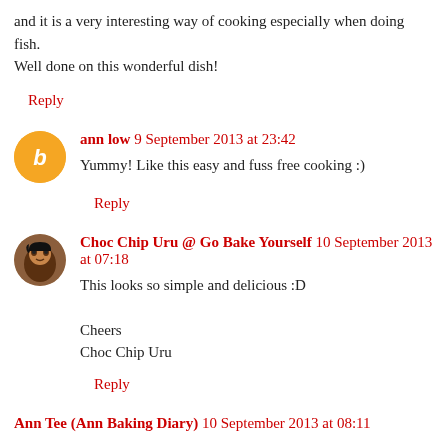and it is a very interesting way of cooking especially when doing fish.
Well done on this wonderful dish!
Reply
ann low  9 September 2013 at 23:42
Yummy! Like this easy and fuss free cooking :)
Reply
Choc Chip Uru @ Go Bake Yourself  10 September 2013 at 07:18
This looks so simple and delicious :D

Cheers
Choc Chip Uru
Reply
Ann Tee (Ann Baking Diary)  10 September 2013 at 08:11